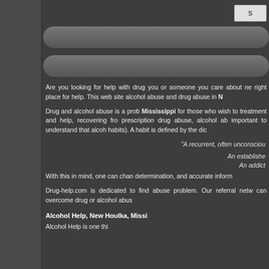Are you looking for help with drug abuse? If you or someone you care about needs help, you're in the right place for help. This web site can help you with alcohol abuse and drug abuse in N...
Drug and alcohol abuse is a prob... Mississippi for those who wish to... treatment and help, recovering fro... prescription drug abuse, alcohol ab... important to understand that alco... habits). A habit is defined by the dic...
"A recurrent, often unconsciou...
An establishe... An addict...
With this in mind, one can chan... determination, and accurate inform...
Drug-help.com is dedicated to find... abuse problem. Our referral netw... can overcome drug or alcohol abus...
Alcohol Help, New Houlka, Missi...
Alcohol Help is one thi...